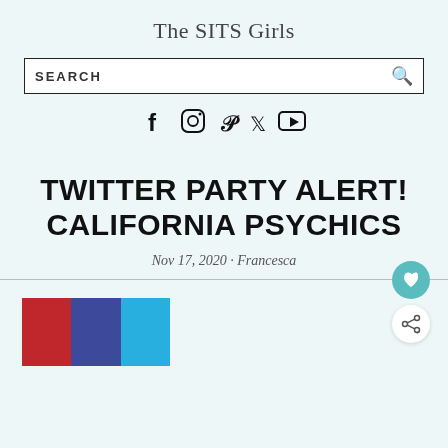The SITS Girls
[Figure (screenshot): Search bar with magnifying glass icon]
[Figure (infographic): Social media icons: Facebook, Instagram, Pinterest, Twitter, YouTube]
TWITTER PARTY ALERT! CALIFORNIA PSYCHICS
Nov 17, 2020 · Francesca
[Figure (infographic): Three colored blocks: red, dark blue, light blue]